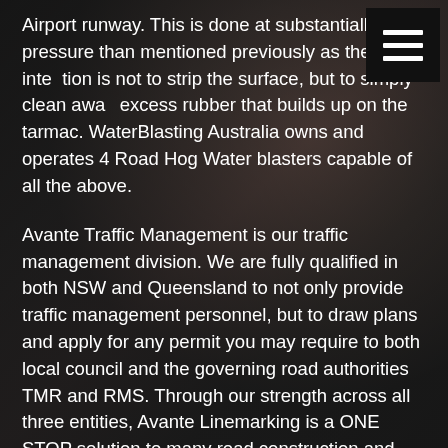Airport runway. This is done at substantially less pressure than mentioned previously as the intention is not to strip the surface, but to simply clean away excess rubber that builds up on the tarmac. WaterBlasting Australia owns and operates 4 Road Hog Water blasters capable of all the above.
Avante Traffic Management is our traffic management division. We are fully qualified in both NSW and Queensland to not only provide traffic management personnel, but to draw plans and apply for any permit you may require to both local council and the governing road authorities TMR and RMS. Through our strength across all three entities, Avante Linemarking is a ONE STOP solution to many road construction and maintenance requirements.